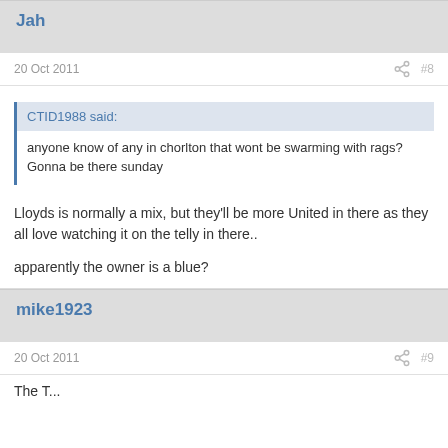Jah
20 Oct 2011   #8
CTID1988 said:
anyone know of any in chorlton that wont be swarming with rags? Gonna be there sunday
Lloyds is normally a mix, but they'll be more United in there as they all love watching it on the telly in there..

apparently the owner is a blue?
mike1923
20 Oct 2011   #9